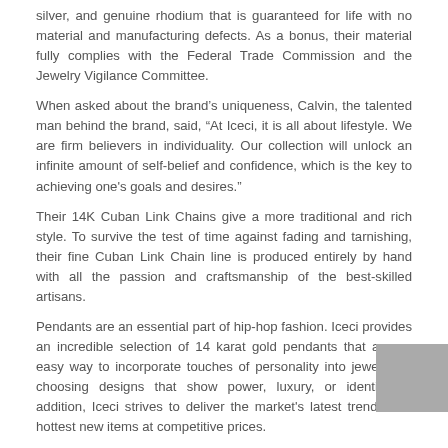silver, and genuine rhodium that is guaranteed for life with no material and manufacturing defects. As a bonus, their material fully complies with the Federal Trade Commission and the Jewelry Vigilance Committee.
When asked about the brand's uniqueness, Calvin, the talented man behind the brand, said, “At Iceci, it is all about lifestyle. We are firm believers in individuality. Our collection will unlock an infinite amount of self-belief and confidence, which is the key to achieving one's goals and desires.”
Their 14K Cuban Link Chains give a more traditional and rich style. To survive the test of time against fading and tarnishing, their fine Cuban Link Chain line is produced entirely by hand with all the passion and craftsmanship of the best-skilled artisans.
Pendants are an essential part of hip-hop fashion. Iceci provides an incredible selection of 14 karat gold pendants that are an easy way to incorporate touches of personality into jewelry by choosing designs that show power, luxury, or identity. In addition, Iceci strives to deliver the market's latest trends and hottest new items at competitive prices.
With the belief that art, fashion, and jewelry are not just meant to be beautiful but also revolutionary, the brand allows people to express their individuality through high-quality fashion pieces while still maintaining a distinctive, luxurious edge.